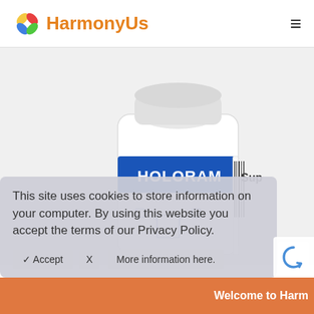[Figure (logo): HarmonyUs logo with colorful petal/leaf icon and orange text 'HarmonyUs']
[Figure (photo): White supplement bottle labeled HOLORAM Sup with blue label band, shown partially, with barcode on right side]
This site uses cookies to store information on your computer. By using this website you accept the terms of our Privacy Policy.
✓ Accept   X   More information here.
Welcome to Harm